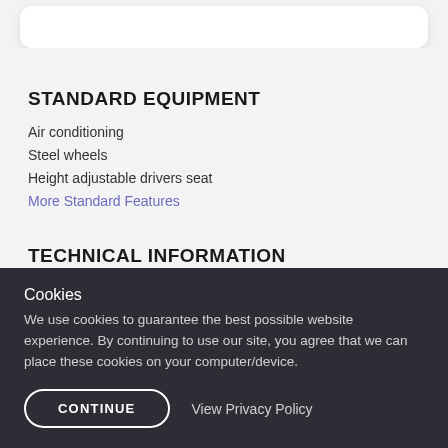STANDARD EQUIPMENT
Air conditioning
Steel wheels
Height adjustable drivers seat
More Standard Features
TECHNICAL INFORMATION
Fuel type: Diesel
Cookies
We use cookies to guarantee the best possible website experience. By continuing to use our site, you agree that we can place these cookies on your computer/device.
CONTINUE
View Privacy Policy